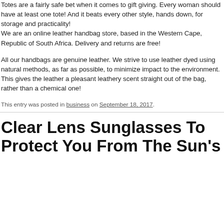Totes are a fairly safe bet when it comes to gift giving. Every woman should have at least one tote! And it beats every other style, hands down, for storage and practicality! We are an online leather handbag store, based in the Western Cape, Republic of South Africa. Delivery and returns are free!
All our handbags are genuine leather. We strive to use leather dyed using natural methods, as far as possible, to minimize impact to the environment. This gives the leather a pleasant leathery scent straight out of the bag, rather than a chemical one!
This entry was posted in business on September 18, 2017.
Clear Lens Sunglasses To Protect You From The Sun's